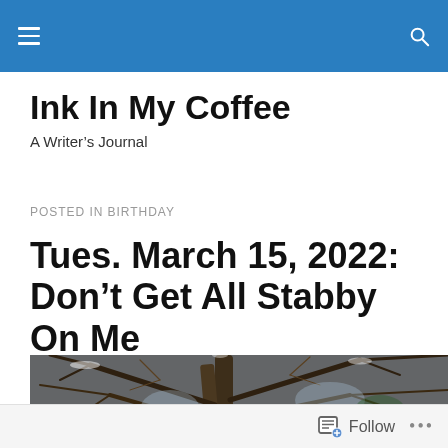Ink In My Coffee — navigation and search bar
Ink In My Coffee
A Writer's Journal
POSTED IN BIRTHDAY
Tues. March 15, 2022: Don't Get All Stabby On Me
[Figure (photo): Close-up photograph of bare winter tree branches with snow, intertwined twigs against a grey-blue sky]
Follow  •••